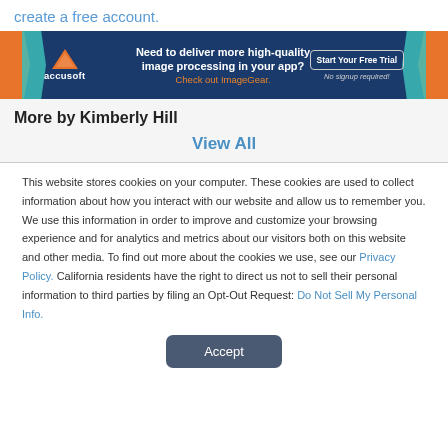create a free account.
[Figure (infographic): Accusoft advertisement banner: dark blue background with orange and teal chevron shapes on sides. Accusoft logo on left. Center text: 'Need to deliver more high-quality image processing in your app? Check out ImageGear.' Button on right: 'Start Your Free Trial' with 'No signup required!' below.]
More by Kimberly Hill
View All
This website stores cookies on your computer. These cookies are used to collect information about how you interact with our website and allow us to remember you. We use this information in order to improve and customize your browsing experience and for analytics and metrics about our visitors both on this website and other media. To find out more about the cookies we use, see our Privacy Policy. California residents have the right to direct us not to sell their personal information to third parties by filing an Opt-Out Request: Do Not Sell My Personal Info.
Accept